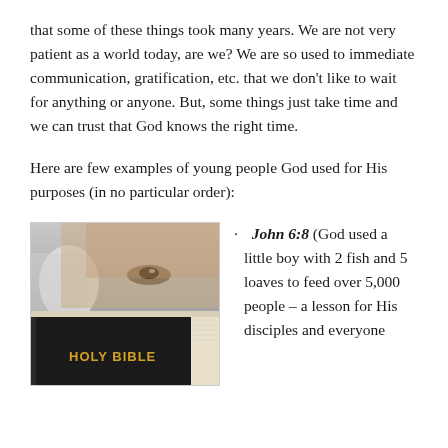that some of these things took many years. We are not very patient as a world today, are we? We are so used to immediate communication, gratification, etc. that we don't like to wait for anything or anyone. But, some things just take time and we can trust that God knows the right time.
Here are few examples of young people God used for His purposes (in no particular order):
[Figure (photo): A child peering over the top of a Holy Bible, showing their eyes.]
John 6:8 (God used a little boy with 2 fish and 5 loaves to feed over 5,000 people – a lesson for His disciples and everyone